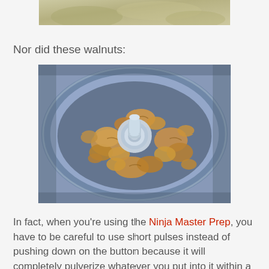[Figure (photo): Partial top image showing a light-colored food or ingredient from above, cropped at top of page]
Nor did these walnuts:
[Figure (photo): Top-down view of walnut pieces inside a food processor bowl with a central blade/spindle visible]
In fact, when you're using the Ninja Master Prep, you have to be careful to use short pulses instead of pushing down on the button because it will completely pulverize whatever you put into it within a few short seconds. Since I didn't want